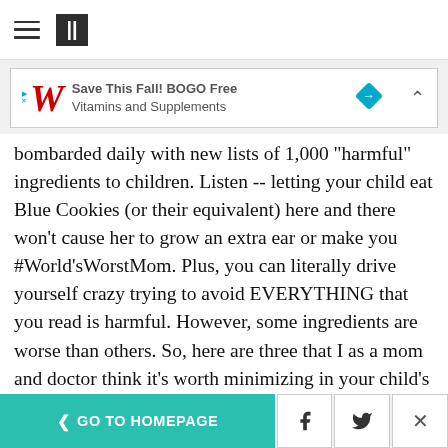HuffPost navigation
[Figure (other): Walgreens advertisement banner: Save This Fall! BOGO Free Vitamins and Supplements]
bombarded daily with new lists of 1,000 "harmful" ingredients to children. Listen -- letting your child eat Blue Cookies (or their equivalent) here and there won't cause her to grow an extra ear or make you #World'sWorstMom. Plus, you can literally drive yourself crazy trying to avoid EVERYTHING that you read is harmful. However, some ingredients are worse than others. So, here are three that I as a mom and doctor think it's worth minimizing in your child's diet -- as well as your own.
< GO TO HOMEPAGE  [Facebook] [Twitter] [X]